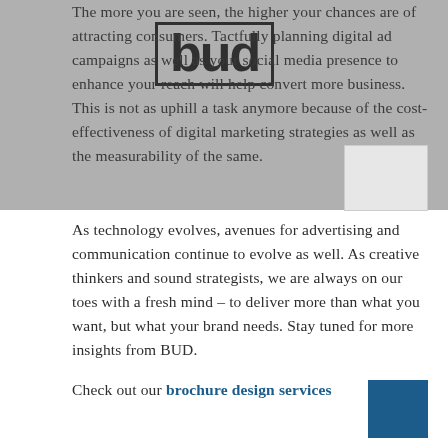The more you are seen, the higher your chances are of attracting consumers. Tactfully planning digital ad campaigns as well as your social media presence to enhance your reach will help convert more business. This is not as uphill a task anymore because of the cost-effectiveness of digital marketing strategies as well as the measurability of the same.
[Figure (logo): BUD logo in bold black text with border, overlaid on gray background]
As technology evolves, avenues for advertising and communication continue to evolve as well. As creative thinkers and sound strategists, we are always on our toes with a fresh mind – to deliver more than what you want, but what your brand needs. Stay tuned for more insights from BUD.
Check out our brochure design services